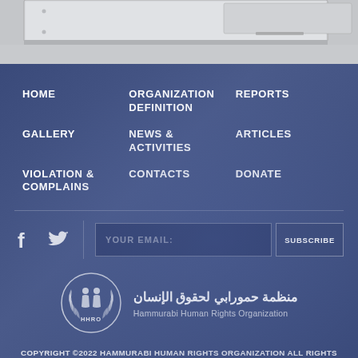[Figure (photo): Partial view of classroom desks/tables in a room, viewed from above at an angle, in grayscale tones]
HOME
ORGANIZATION DEFINITION
REPORTS
GALLERY
NEWS & ACTIVITIES
ARTICLES
VIOLATION & COMPLAINS
CONTACTS
DONATE
[Figure (logo): Hammurabi Human Rights Organization logo: circular emblem with two figures and laurel wreath, HHRO text at bottom]
منظمة حمورابي لحقوق الإنسان
Hammurabi Human Rights Organization
COPYRIGHT ©2022 HAMMURABI HUMAN RIGHTS ORGANIZATION ALL RIGHTS RESERVED. DESIGNED BY ORINET